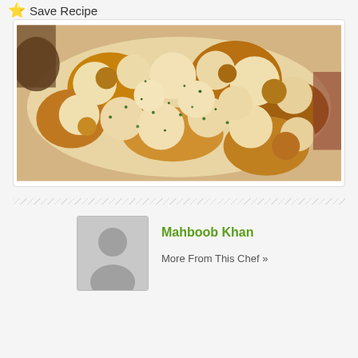⭐ Save Recipe
[Figure (photo): Close-up photo of a cheesy baked dish, possibly naan or flatbread topped with melted mozzarella cheese and herbs, golden and bubbly on top]
Mahboob Khan
More From This Chef »